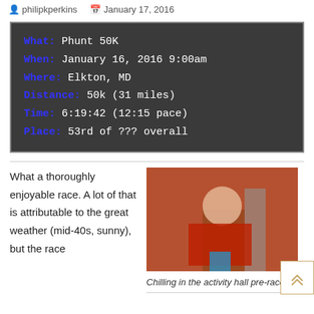philipkperkins   January 17, 2016
What:  Phunt 50K
When: January 16, 2016 9:00am
Where: Elkton, MD
Distance: 50k (31 miles)
Time: 6:19:42 (12:15 pace)
Place: 53rd of ??? overall
What a thoroughly enjoyable race.  A lot of that is attributable to the great weather (mid-40s, sunny), but the race
[Figure (photo): Person in orange hoodie sitting in activity hall pre-race]
Chilling in the activity hall pre-race.